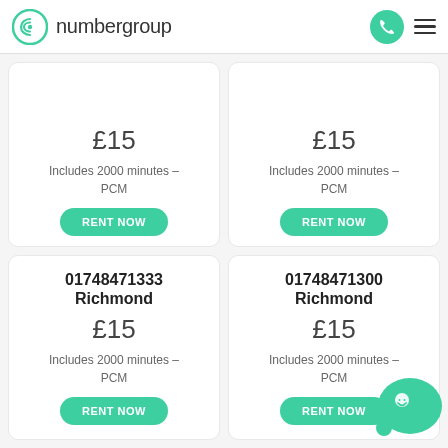numbergroup
£15
Includes 2000 minutes - PCM
£15
Includes 2000 minutes - PCM
01748471333 Richmond
£15
Includes 2000 minutes - PCM
01748471300 Richmond
£15
Includes 2000 minutes - PCM